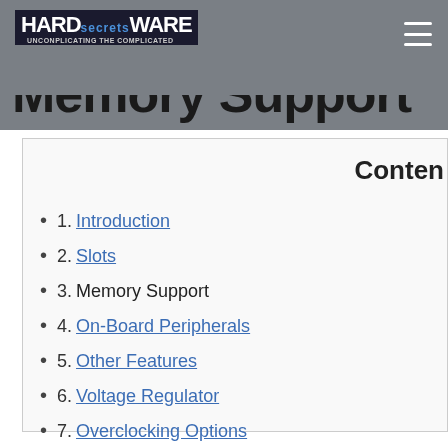Hardware Secrets — Unconplicating the complicated
Memory Support
Conten
1. Introduction
2. Slots
3. Memory Support
4. On-Board Peripherals
5. Other Features
6. Voltage Regulator
7. Overclocking Options
8. Main Specifications
9. Conclusions